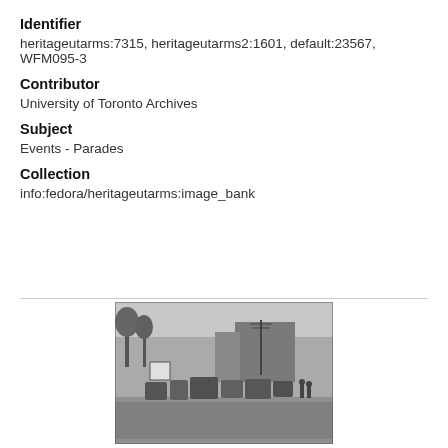Identifier
heritageutarms:7315, heritageutarms2:1601, default:23567, WFM095-3
Contributor
University of Toronto Archives
Subject
Events - Parades
Collection
info:fedora/heritageutarms:image_bank
[Figure (photo): Black and white photograph of a parade on a street, showing vehicles and participants with signs, trees and buildings in the background, utility poles visible.]